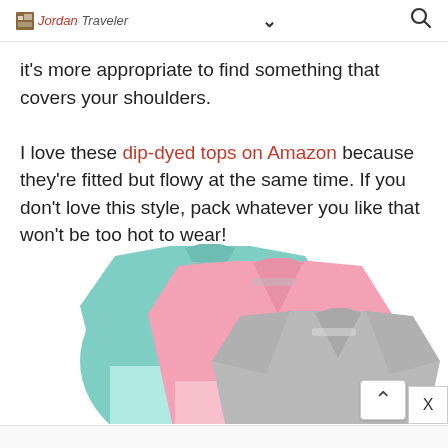Jordan Traveler [nav chevron] [search icon]
it's more appropriate to find something that covers your shoulders.

I love these dip-dyed tops on Amazon because they're fitted but flowy at the same time. If you don't love this style, pack whatever you like that won't be too hot to wear!
[Figure (photo): Three v-neck dip-dyed t-shirts overlapping: mint/teal green on left, pink in middle, gray on right.]